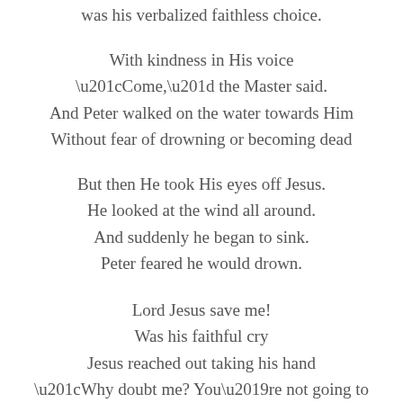was his verbalized faithless choice.
With kindness in His voice
“Come,” the Master said.
And Peter walked on the water towards Him
Without fear of drowning or becoming dead
But then He took His eyes off Jesus.
He looked at the wind all around.
And suddenly he began to sink.
Peter feared he would drown.
Lord Jesus save me!
Was his faithful cry
Jesus reached out taking his hand
“Why doubt me? You’re not going to die.”